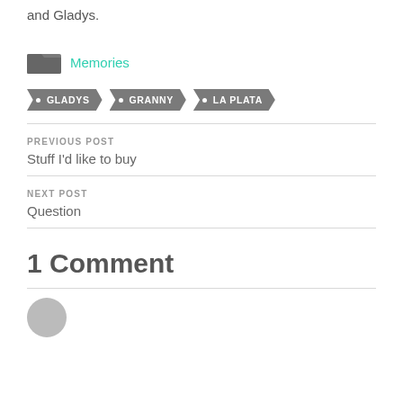and Gladys.
Memories
GLADYS  GRANNY  LA PLATA
PREVIOUS POST
Stuff I'd like to buy
NEXT POST
Question
1 Comment